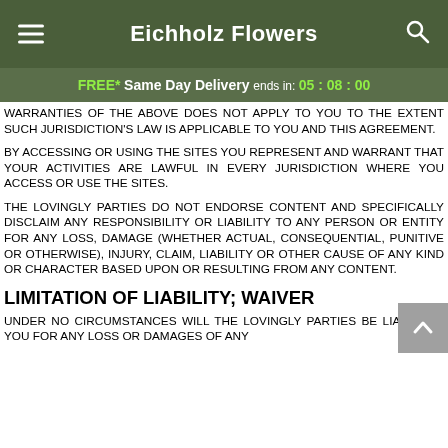Eichholz Flowers
FREE* Same Day Delivery ends in: 05 : 08 : 00
WARRANTIES OF THE ABOVE DOES NOT APPLY TO YOU TO THE EXTENT SUCH JURISDICTION'S LAW IS APPLICABLE TO YOU AND THIS AGREEMENT.
BY ACCESSING OR USING THE SITES YOU REPRESENT AND WARRANT THAT YOUR ACTIVITIES ARE LAWFUL IN EVERY JURISDICTION WHERE YOU ACCESS OR USE THE SITES.
THE LOVINGLY PARTIES DO NOT ENDORSE CONTENT AND SPECIFICALLY DISCLAIM ANY RESPONSIBILITY OR LIABILITY TO ANY PERSON OR ENTITY FOR ANY LOSS, DAMAGE (WHETHER ACTUAL, CONSEQUENTIAL, PUNITIVE OR OTHERWISE), INJURY, CLAIM, LIABILITY OR OTHER CAUSE OF ANY KIND OR CHARACTER BASED UPON OR RESULTING FROM ANY CONTENT.
LIMITATION OF LIABILITY; WAIVER
UNDER NO CIRCUMSTANCES WILL THE LOVINGLY PARTIES BE LIABLE TO YOU FOR ANY LOSS OR DAMAGES OF ANY